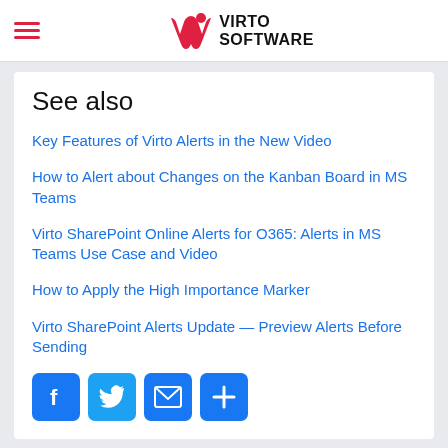Virto Software
See also
Key Features of Virto Alerts in the New Video
How to Alert about Changes on the Kanban Board in MS Teams
Virto SharePoint Online Alerts for O365: Alerts in MS Teams Use Case and Video
How to Apply the High Importance Marker
Virto SharePoint Alerts Update — Preview Alerts Before Sending
[Figure (infographic): Social share buttons: Facebook, Twitter, Email, More]